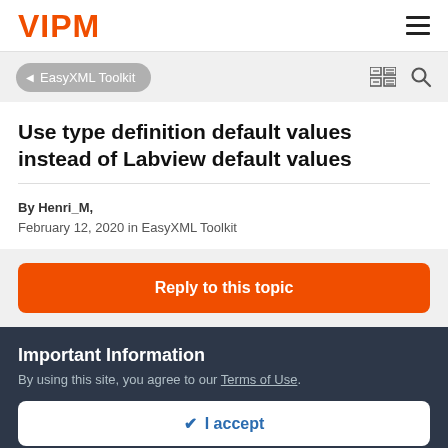VIPM
EasyXML Toolkit
Use type definition default values instead of Labview default values
By Henri_M,
February 12, 2020 in EasyXML Toolkit
Reply to this topic
Important Information
By using this site, you agree to our Terms of Use.
✔ I accept